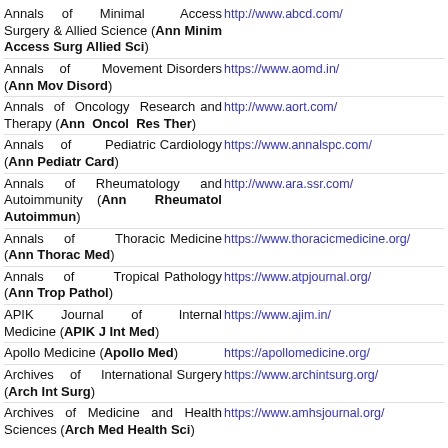Annals of Minimal Access Surgery & Allied Science (Ann Minim Access Surg Allied Sci) http://www.abcd.com/
Annals of Movement Disorders (Ann Mov Disord) https://www.aomd.in/
Annals of Oncology Research and Therapy (Ann Oncol Res Ther) http://www.aort.com/
Annals of Pediatric Cardiology (Ann Pediatr Card) https://www.annalspc.com/
Annals of Rheumatology and Autoimmunity (Ann Rheumatol Autoimmun) http://www.ara.ssr.com/
Annals of Thoracic Medicine (Ann Thorac Med) https://www.thoracicmedicine.org/
Annals of Tropical Pathology (Ann Trop Pathol) https://www.atpjournal.org/
APIK Journal of Internal Medicine (APIK J Int Med) https://www.ajim.in/
Apollo Medicine (Apollo Med) https://apollomedicine.org/
Archives of International Surgery (Arch Int Surg) https://www.archintsurg.org/
Archives of Medicine and Health Sciences (Arch Med Health Sci) https://www.amhsjournal.org/